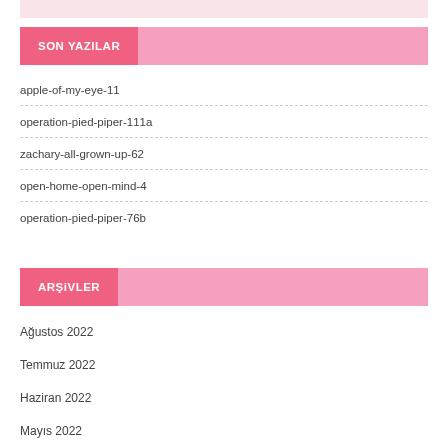SON YAZILAR
apple-of-my-eye-11
operation-pied-piper-111a
zachary-all-grown-up-62
open-home-open-mind-4
operation-pied-piper-76b
ARŞiVLER
Ağustos 2022
Temmuz 2022
Haziran 2022
Mayıs 2022